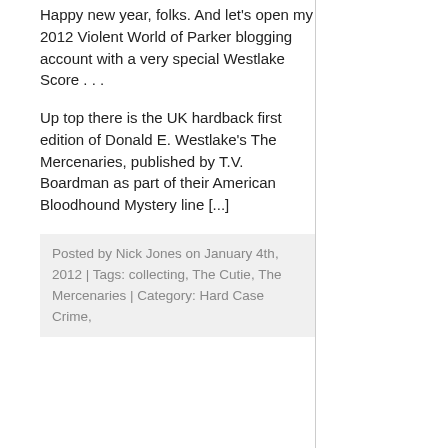Happy new year, folks. And let's open my 2012 Violent World of Parker blogging account with a very special Westlake Score . . .
Up top there is the UK hardback first edition of Donald E. Westlake's The Mercenaries, published by T.V. Boardman as part of their American Bloodhound Mystery line [...]
Posted by Nick Jones on January 4th, 2012 | Tags: collecting, The Cutie, The Mercenaries | Category: Hard Case Crime,